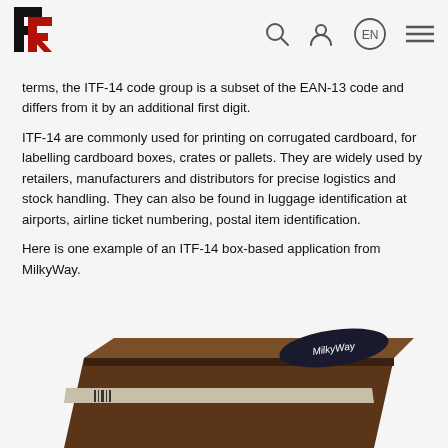FR logo with navigation icons: search, user, EN language selector, menu
terms, the ITF-14 code group is a subset of the EAN-13 code and differs from it by an additional first digit.
ITF-14 are commonly used for printing on corrugated cardboard, for labelling cardboard boxes, crates or pallets. They are widely used by retailers, manufacturers and distributors for precise logistics and stock handling. They can also be found in luggage identification at airports, airline ticket numbering, postal item identification.
Here is one example of an ITF-14 box-based application from MilkyWay.
[Figure (photo): A MilkyWay chocolate bar cardboard box with ITF-14 barcode, showing the brown box with the MilkyWay logo on top.]